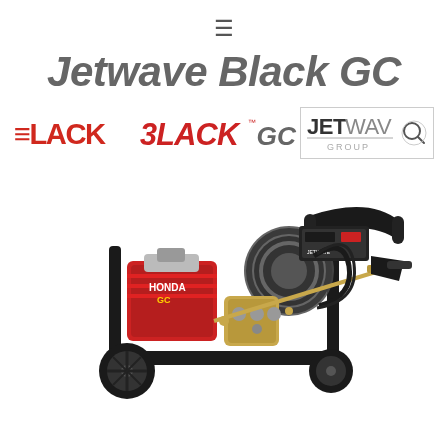☰
Jetwave Black GC
[Figure (logo): BLACK GC logo in red and gray text with trademark symbol, and Jetwave Group logo with magnifier icon]
[Figure (photo): Jetwave Black GC pressure washer machine with Honda GC engine, hose reel, spray gun, and wheeled frame]